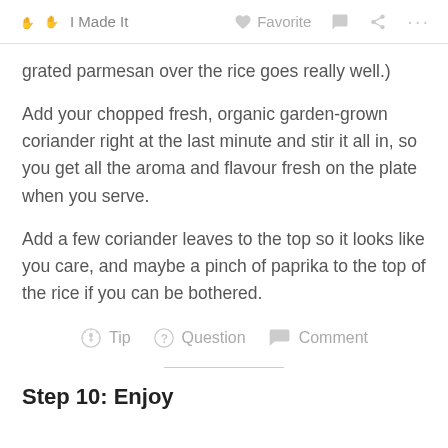I Made It   Favorite   Comment   Share   ...
grated parmesan over the rice goes really well.)
Add your chopped fresh, organic garden-grown coriander right at the last minute and stir it all in, so you get all the aroma and flavour fresh on the plate when you serve.
Add a few coriander leaves to the top so it looks like you care, and maybe a pinch of paprika to the top of the rice if you can be bothered.
Tip   Question   Comment
Step 10: Enjoy